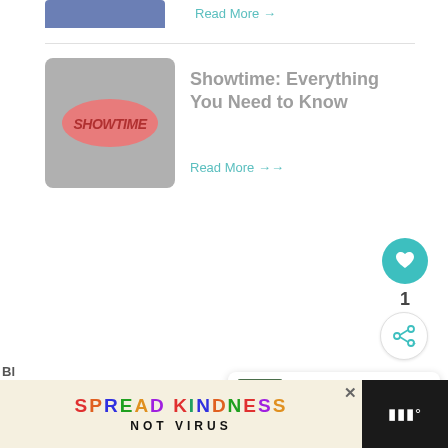[Figure (screenshot): Partial blue-gray thumbnail image at top left]
Read More →
[Figure (logo): Showtime logo on gray rounded square card]
Showtime: Everything You Need to Know
Read More →
[Figure (illustration): Teal heart like button circle with count 1]
[Figure (illustration): White share button circle]
WHAT'S NEXT → Everything You Need to...
[Figure (screenshot): SPREAD KINDNESS NOT VIRUS advertisement banner at bottom]